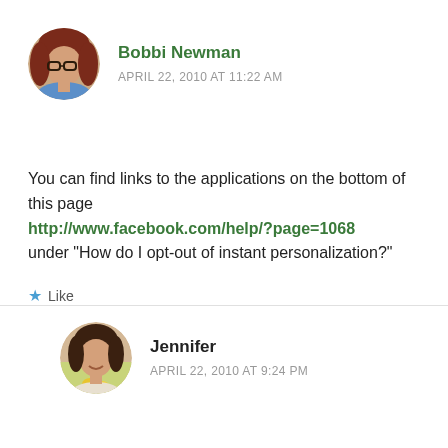[Figure (photo): Circular avatar photo of Bobbi Newman, a woman with red hair and glasses wearing a blue floral top]
Bobbi Newman
APRIL 22, 2010 AT 11:22 AM
You can find links to the applications on the bottom of this page http://www.facebook.com/help/?page=1068 under “How do I opt-out of instant personalization?”
Like
[Figure (photo): Circular avatar photo of Jennifer, a woman with short dark hair holding yellow flowers]
Jennifer
APRIL 22, 2010 AT 9:24 PM